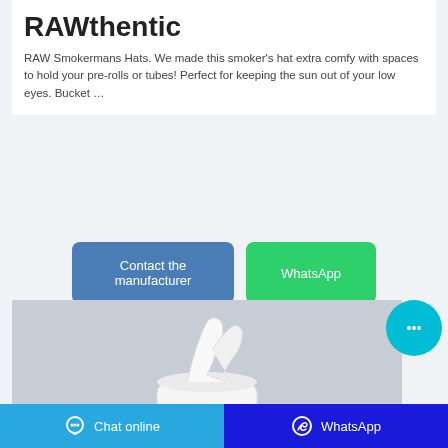RAWthentic
RAW Smokermans Hats. We made this smoker's hat extra comfy with spaces to hold your pre-rolls or tubes! Perfect for keeping the sun out of your low eyes. Bucket …
[Figure (screenshot): Two buttons: 'Contact the manufacturer' (blue) and 'WhatsApp' (green)]
[Figure (photo): Product photo of a white tissue box on a light gray background]
[Figure (other): Floating cyan circular chat button with ellipsis icon]
Chat online   WhatsApp